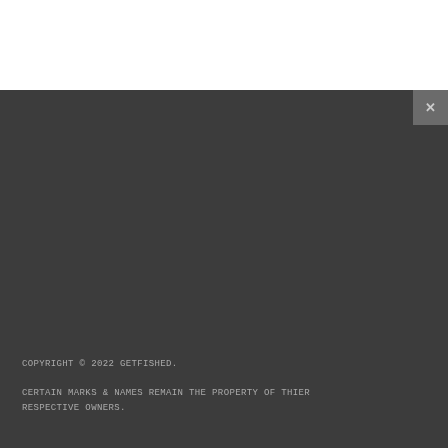[Figure (screenshot): White top area and dark gray background panel with a close (X) button in the upper right corner of the dark panel]
COPYRIGHT © 2022 GETFISHED.

CERTAIN MARKS & NAMES REMAIN THE PROPERTY OF THIER RESPECTIVE OWNERS.